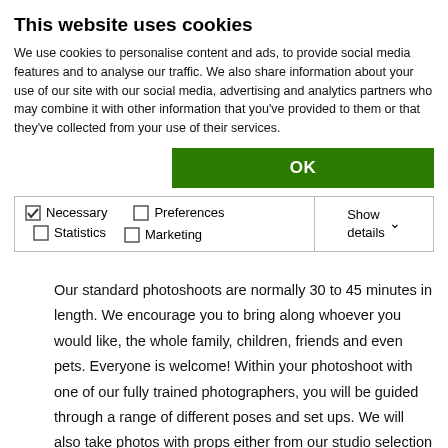This website uses cookies
We use cookies to personalise content and ads, to provide social media features and to analyse our traffic. We also share information about your use of our site with our social media, advertising and analytics partners who may combine it with other information that you've provided to them or that they've collected from your use of their services.
OK
Necessary  Preferences  Statistics  Marketing  Show details
Our standard photoshoots are normally 30 to 45 minutes in length. We encourage you to bring along whoever you would like, the whole family, children, friends and even pets. Everyone is welcome! Within your photoshoot with one of our fully trained photographers, you will be guided through a range of different poses and set ups. We will also take photos with props either from our studio selection or with special items you've brought along with you and with a selection of our different backdrops and lighting. After your photoshoot we will book you in to